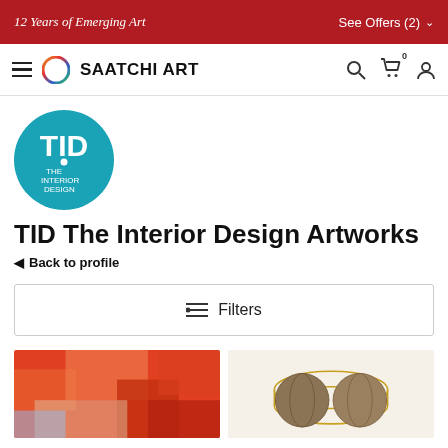12 Years of Emerging Art | See Offers (2)
[Figure (logo): Saatchi Art navigation bar with hamburger menu, circular gradient logo, SAATCHI ART brand name, search icon, cart icon with 0, and user icon]
[Figure (logo): TID The Interior Design circular teal logo with white text TID and THE INTERIOR DESIGN text below]
TID The Interior Design Artworks
◄ Back to profile
≔ Filters
[Figure (photo): Left artwork thumbnail showing colorful orange/red abstract painting]
[Figure (photo): Right artwork thumbnail showing decorative item with gold wire frame and round patterned spheres]